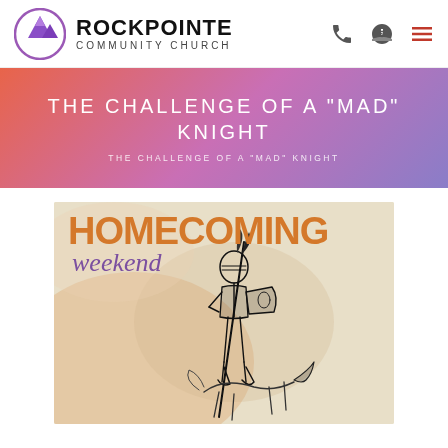[Figure (logo): Rockpointe Community Church logo with purple mountain icon in circle and bold church name text]
THE CHALLENGE OF A "MAD" KNIGHT
THE CHALLENGE OF A "MAD" KNIGHT
[Figure (illustration): Homecoming Weekend graphic with orange HOMECOMING text, purple italic 'weekend' script, and black ink sketch of Don Quixote knight figure on beige watercolor background]